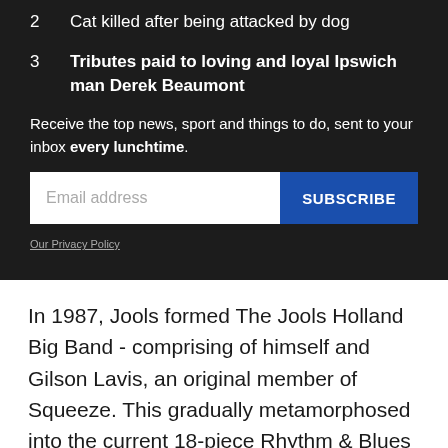2  Cat killed after being attacked by dog
3  Tributes paid to loving and loyal Ipswich man Derek Beaumont
Receive the top news, sport and things to do, sent to your inbox every lunchtime.
In 1987, Jools formed The Jools Holland Big Band - comprising of himself and Gilson Lavis, an original member of Squeeze. This gradually metamorphosed into the current 18-piece Rhythm & Blues Orchestra, which consists of one pianist, one drummer, two